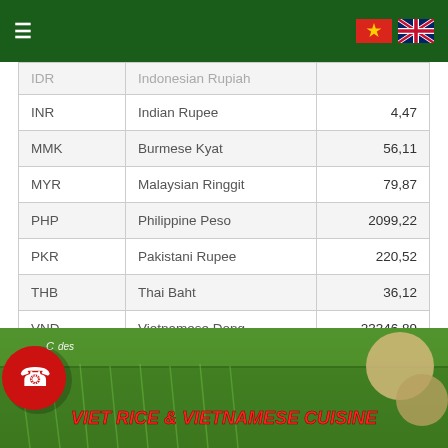Navigation bar with hamburger menu and Vietnam/UK flags
| Code | Currency | Rate |
| --- | --- | --- |
| IDR | Indonesian Rupiah |  |
| INR | Indian Rupee | 4,47 |
| MMK | Burmese Kyat | 56,11 |
| MYR | Malaysian Ringgit | 79,87 |
| PHP | Philippine Peso | 2099,22 |
| PKR | Pakistani Rupee | 220,52 |
| THB | Thai Baht | 36,12 |
| VND | Vietnamese Dong | 23346,89 |
[Figure (photo): Viet Rice & Vietnamese Cuisine banner with rice field background and food images]